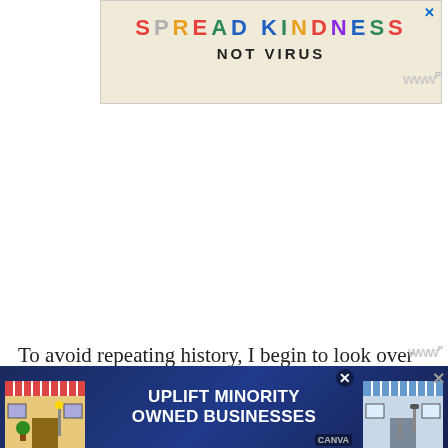[Figure (infographic): Advertisement banner with colorful text 'SPREAD KINDNESS NOT VIRUS' on a beige background with a close button (X) in the top right corner]
[Figure (infographic): Advertisement banner 'UPLIFT MINORITY OWNED BUSINESSES' with dark blue background, storefront illustrations on left and right, and close buttons]
To avoid repeating history, I begin to look over towards the kitchen every few seconds. Now there's no way I'll miss my name! But what if people think I'm weird or impatient